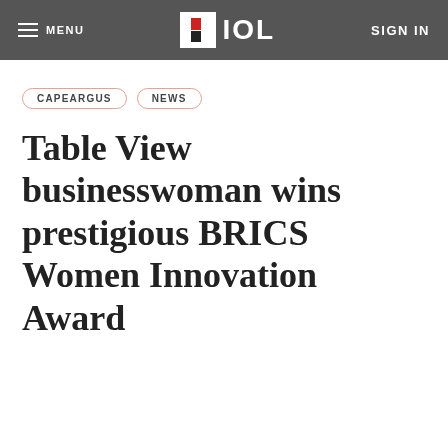MENU | IOL | SIGN IN
CAPEARGUS
NEWS
Table View businesswoman wins prestigious BRICS Women Innovation Award